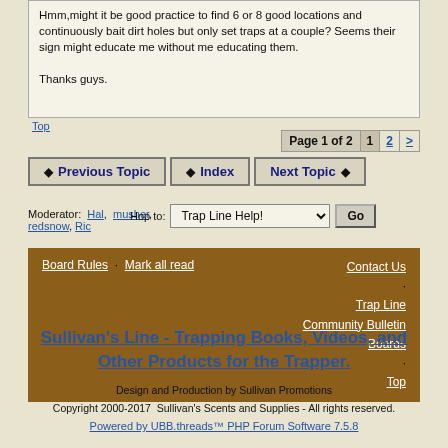Hmm,might it be good practice to find 6 or 8 good locations and continuously bait dirt holes but only set traps at a couple? Seems their sign might educate me without me educating them.

Thanks guys.
Top
Page 1 of 2  1  2  >
Previous Topic   Index   Next Topic
Moderator: Hal, musher, redsnow, Ric   Hop to: Trap Line Help!   Go
Board Rules · Mark all read   Contact Us · Trap Line Community Bulletin Boards · Top
Sullivan's Line - Trapping Books, Videos, and Other Products for the Trapper.
Design and Production by Sullivan Promotions
Copyright 2000-2017  Sullivan's Scents and Supplies - All rights reserved.
Powered by UBB.threads™ PHP Forum Software 7.5.8